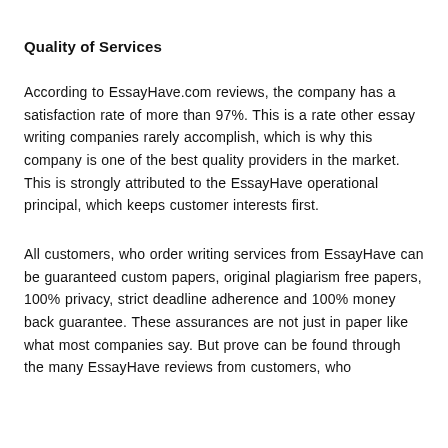Quality of Services
According to EssayHave.com reviews, the company has a satisfaction rate of more than 97%. This is a rate other essay writing companies rarely accomplish, which is why this company is one of the best quality providers in the market. This is strongly attributed to the EssayHave operational principal, which keeps customer interests first.
All customers, who order writing services from EssayHave can be guaranteed custom papers, original plagiarism free papers, 100% privacy, strict deadline adherence and 100% money back guarantee. These assurances are not just in paper like what most companies say. But prove can be found through the many EssayHave reviews from customers, who